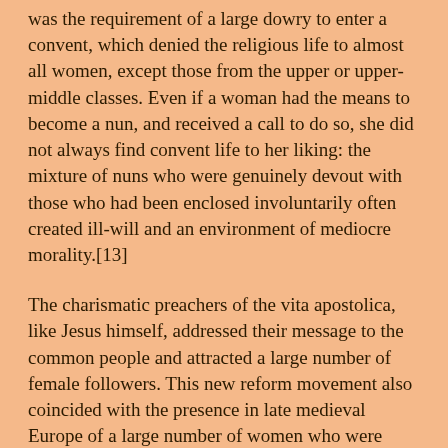was the requirement of a large dowry to enter a convent, which denied the religious life to almost all women, except those from the upper or upper-middle classes. Even if a woman had the means to become a nun, and received a call to do so, she did not always find convent life to her liking: the mixture of nuns who were genuinely devout with those who had been enclosed involuntarily often created ill-will and an environment of mediocre morality.[13]
The charismatic preachers of the vita apostolica, like Jesus himself, addressed their message to the common people and attracted a large number of female followers. This new reform movement also coincided with the presence in late medieval Europe of a large number of women who were unable to find suitable husbands--a problem historians have termed the frauenfrage, or the "women question."[14] Many of these female "floaters" embraced religion with enthusiasm, but, as David Herlihy has pointed